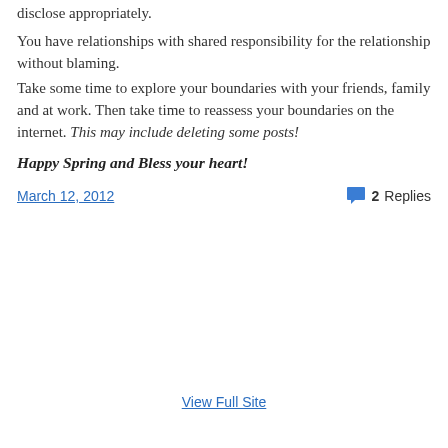disclose appropriately.
You have relationships with shared responsibility for the relationship without blaming.
Take some time to explore your boundaries with your friends, family and at work. Then take time to reassess your boundaries on the internet. This may include deleting some posts!
Happy Spring and Bless your heart!
March 12, 2012
2 Replies
View Full Site